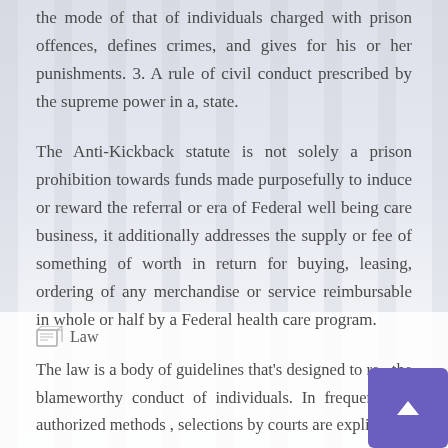the mode of that of individuals charged with prison offences, defines crimes, and gives for his or her punishments. 3. A rule of civil conduct prescribed by the supreme power in a, state.
The Anti-Kickback statute is not solely a prison prohibition towards funds made purposefully to induce or reward the referral or era of Federal well being care business, it additionally addresses the supply or fee of something of worth in return for buying, leasing, ordering of any merchandise or service reimbursable in whole or half by a Federal health care program.
[Figure (illustration): Small document/law icon labeled 'Law']
The law is a body of guidelines that’s designed to regulate the blameworthy conduct of individuals. In frequent law authorized methods , selections by courts are explicitly